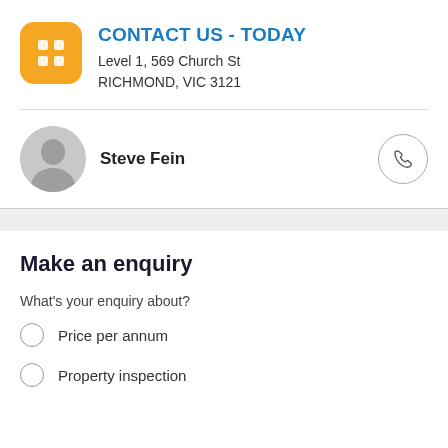CONTACT US - TODAY
Level 1, 569 Church St
RICHMOND, VIC 3121
Steve Fein
Make an enquiry
What's your enquiry about?
Price per annum
Property inspection